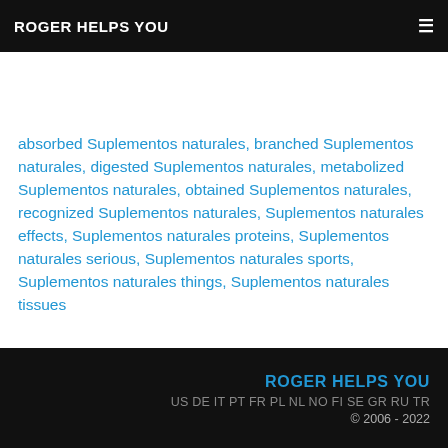ROGER HELPS YOU
absorbed Suplementos naturales, branched Suplementos naturales, digested Suplementos naturales, metabolized Suplementos naturales, obtained Suplementos naturales, recognized Suplementos naturales, Suplementos naturales effects, Suplementos naturales proteins, Suplementos naturales serious, Suplementos naturales sports, Suplementos naturales things, Suplementos naturales tissues
ROGER HELPS YOU
US DE IT PT FR PL NL NO FI SE GR RU TR
© 2006 - 2022